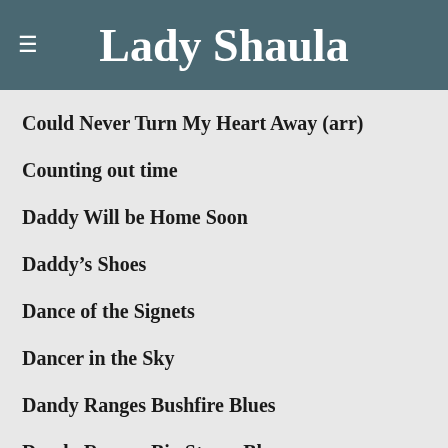Lady Shaula
Could Never Turn My Heart Away (arr)
Counting out time
Daddy Will be Home Soon
Daddy's Shoes
Dance of the Signets
Dancer in the Sky
Dandy Ranges Bushfire Blues
Dandy Ranges Big Storm Blues
David Friello
Dear G & S (PWOne)